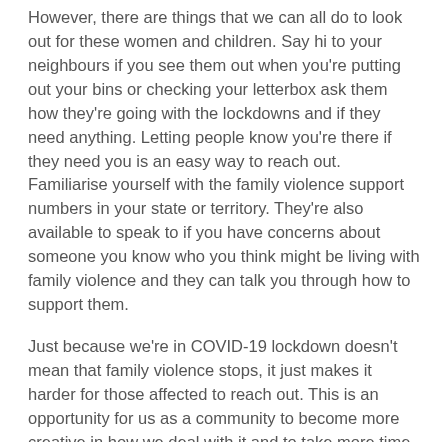However, there are things that we can all do to look out for these women and children. Say hi to your neighbours if you see them out when you're putting out your bins or checking your letterbox ask them how they're going with the lockdowns and if they need anything. Letting people know you're there if they need you is an easy way to reach out. Familiarise yourself with the family violence support numbers in your state or territory. They're also available to speak to if you have concerns about someone you know who you think might be living with family violence and they can talk you through how to support them.
Just because we're in COVID-19 lockdown doesn't mean that family violence stops, it just makes it harder for those affected to reach out. This is an opportunity for us as a community to become more creative in how we deal with it and to take more time to look out for each other.